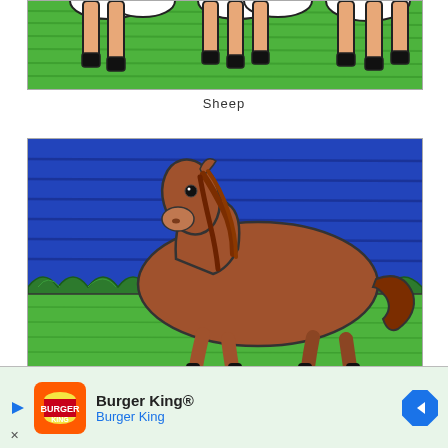[Figure (illustration): Child's crayon drawing of sheep legs and hooves on green grass background, cropped showing only lower portions of sheep bodies]
Sheep
[Figure (illustration): Child's crayon drawing of a brown horse trotting on green grass with dark blue sky and green bushes in the background]
[Figure (other): Burger King advertisement banner with logo, name 'Burger King®' and subtitle 'Burger King', navigation arrow icon on right, close button on lower left]